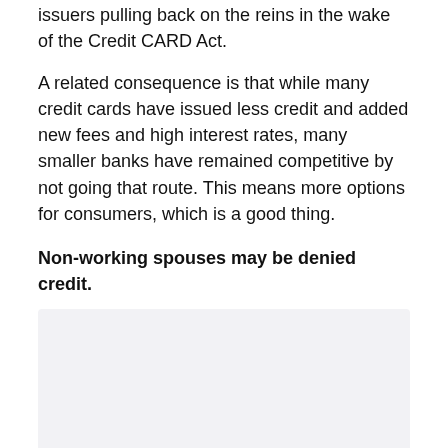issuers pulling back on the reins in the wake of the Credit CARD Act.
A related consequence is that while many credit cards have issued less credit and added new fees and high interest rates, many smaller banks have remained competitive by not going that route. This means more options for consumers, which is a good thing.
Non-working spouses may be denied credit.
[Figure (photo): Image placeholder / embedded graphic related to non-working spouses and credit]
This issue has gotten a lot of play in the press, and for good reason. Starting Oct. 1, if a non-working spouse applies for an individual credit card, the issuer can't consider household income in determining the ability to